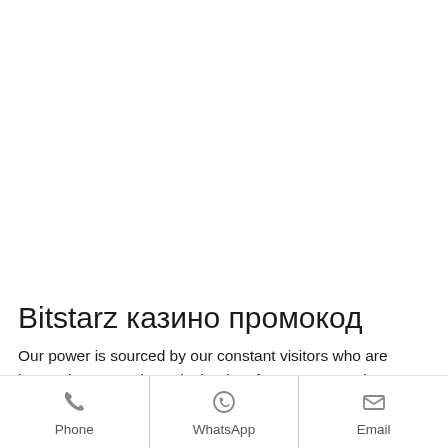Bitstarz казино промокод
Our power is sourced by our constant visitors who are increasing every day. It is the time for you to experience our spectacular services. Home Faucet Mining Games Sign in Sign up. Fill up the below
[Figure (infographic): Contact bar with three options: Phone, WhatsApp, Email icons with labels]